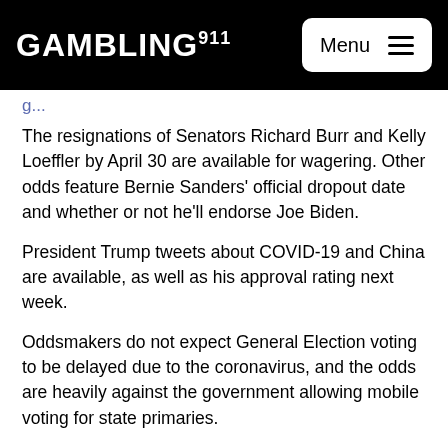GAMBLING911 | Menu
The resignations of Senators Richard Burr and Kelly Loeffler by April 30 are available for wagering. Other odds feature Bernie Sanders' official dropout date and whether or not he'll endorse Joe Biden.
President Trump tweets about COVID-19 and China are available, as well as his approval rating next week.
Oddsmakers do not expect General Election voting to be delayed due to the coronavirus, and the odds are heavily against the government allowing mobile voting for state primaries.
Will Senator Richard Burr resign by April 30?
Yes -175
No +135
(63.6 percent implied probability "yes")